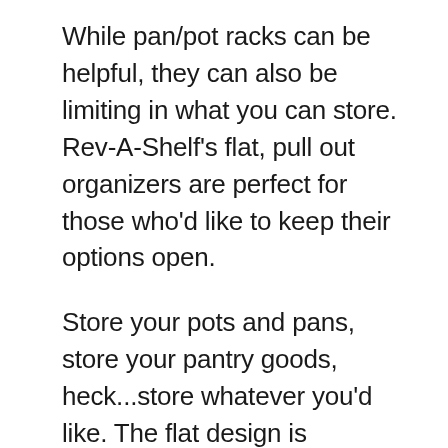While pan/pot racks can be helpful, they can also be limiting in what you can store. Rev-A-Shelf's flat, pull out organizers are perfect for those who'd like to keep their options open.
Store your pots and pans, store your pantry goods, heck...store whatever you'd like. The flat design is completely indiscriminate of anything. The important thing is that it makes your life more convenient by decluttering.